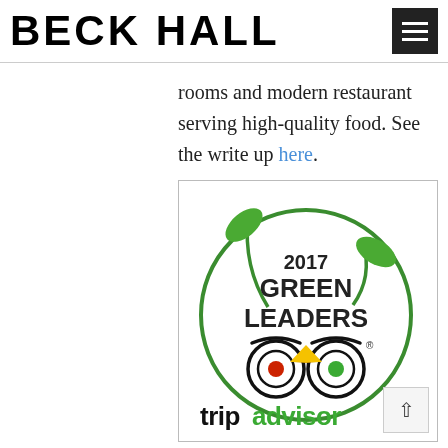BECK HALL
rooms and modern restaurant serving high-quality food. See the write up here.
[Figure (logo): TripAdvisor 2017 Green Leaders badge with owl logo and tripadvisor wordmark at bottom]